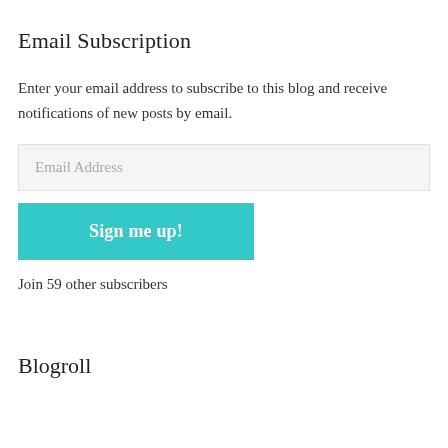Email Subscription
Enter your email address to subscribe to this blog and receive notifications of new posts by email.
Join 59 other subscribers
Blogroll